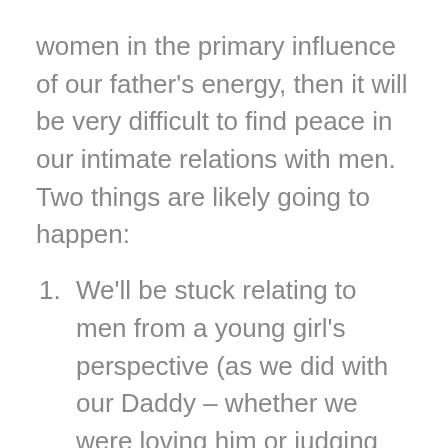women in the primary influence of our father's energy, then it will be very difficult to find peace in our intimate relations with men. Two things are likely going to happen:
We'll be stuck relating to men from a young girl's perspective (as we did with our Daddy – whether we were loving him or judging him, or just trying to take care of Mom). We are trapped in a power imbalance and must